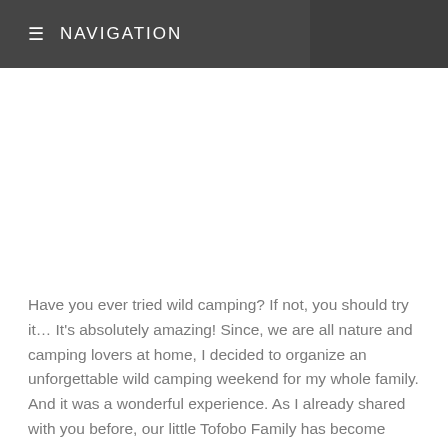≡ NAVIGATION
Have you ever tried wild camping? If not, you should try it… It's absolutely amazing! Since, we are all nature and camping lovers at home, I decided to organize an unforgettable wild camping weekend for my whole family. And it was a wonderful experience. As I already shared with you before, our little Tofobo Family has become huge camping […]